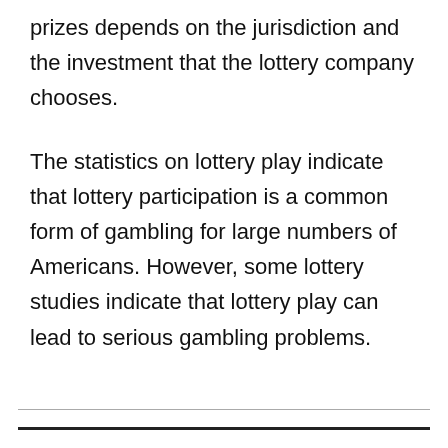prizes depends on the jurisdiction and the investment that the lottery company chooses.
The statistics on lottery play indicate that lottery participation is a common form of gambling for large numbers of Americans. However, some lottery studies indicate that lottery play can lead to serious gambling problems.